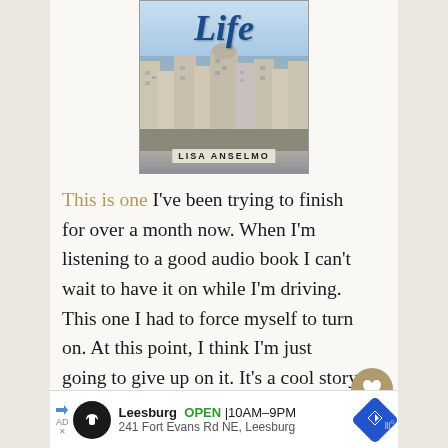[Figure (photo): Book cover showing 'Life' by Lisa Anselmo with Parisian street scene and classical architecture in the background]
This is one I've been trying to finish for over a month now. When I'm listening to a good audio book I can't wait to have it on while I'm driving. This one I had to force myself to turn on. At this point, I think I'm just going to give up on it. It's a cool story in theory, the writer moves to France part time after the death of her
Leesburg OPEN 10AM–9PM 241 Fort Evans Rd NE, Leesburg